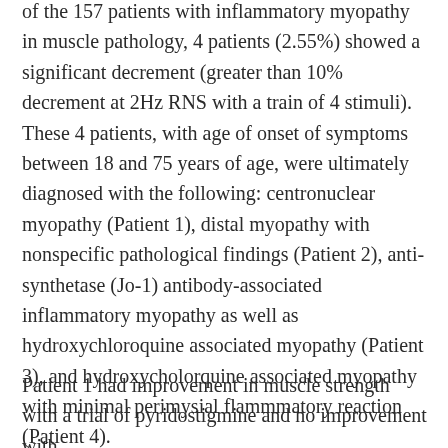of the 157 patients with inflammatory myopathy in muscle pathology, 4 patients (2.55%) showed a significant decrement (greater than 10% decrement at 2Hz RNS with a train of 4 stimuli). These 4 patients, with age of onset of symptoms between 18 and 75 years of age, were ultimately diagnosed with the following: centronuclear myopathy (Patient 1), distal myopathy with nonspecific pathological findings (Patient 2), anti-synthetase (Jo-1) antibody-associated inflammatory myopathy as well as hydroxychloroquine associated myopathy (Patient 3), and hydroxycholorquine associated myopathy with minimal perimysial flammmatory reaction (Patient 4).
Patient 1 had improvement in muscle strength with a trial of pyridostigmine and no improvement with